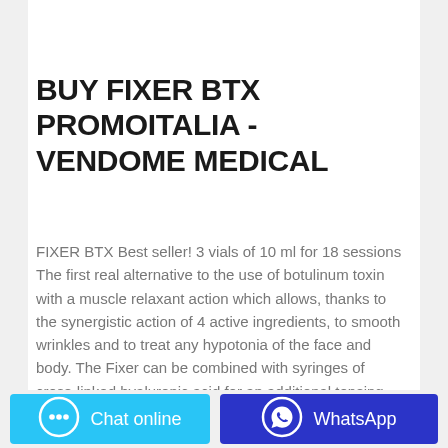[Figure (photo): Product photo of Fixer BTX vials on white background, teal/blue coloring visible at top]
BUY FIXER BTX PROMOITALIA - VENDOME MEDICAL
FIXER BTX Best seller! 3 vials of 10 ml for 18 sessions The first real alternative to the use of botulinum toxin with a muscle relaxant action which allows, thanks to the synergistic action of 4 active ingredients, to smooth wrinkles and to treat any hypotonia of the face and body. The Fixer can be combined with syringes of cross-linked hyaluronic acid for an additional tensing botox …
Chat online
WhatsApp